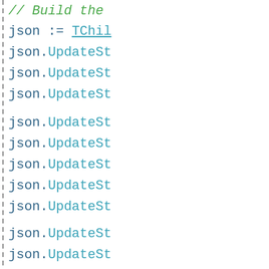[Figure (screenshot): Source code snippet showing a series of json.UpdateSt, json.UpdateIn, json.UpdateBo, json.UpdateNu, json.UpdateBd method calls and comments prefixed with // This conte, partially visible on the right side of the page with a dashed vertical separator line.]